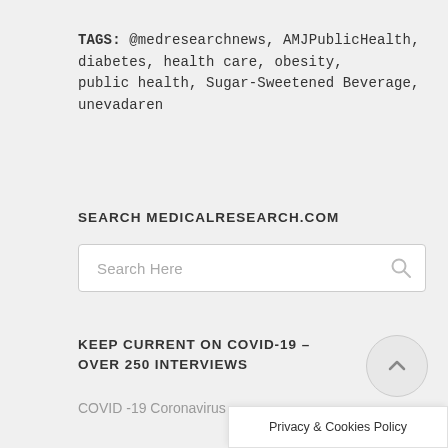TAGS: @medresearchnews, AMJPublicHealth, diabetes, health care, obesity, public health, Sugar-Sweetened Beverage, unevadaren
SEARCH MEDICALRESEARCH.COM
Search Here
KEEP CURRENT ON COVID-19 – OVER 250 INTERVIEWS
COVID -19 Coronavirus
Privacy & Cookies Policy